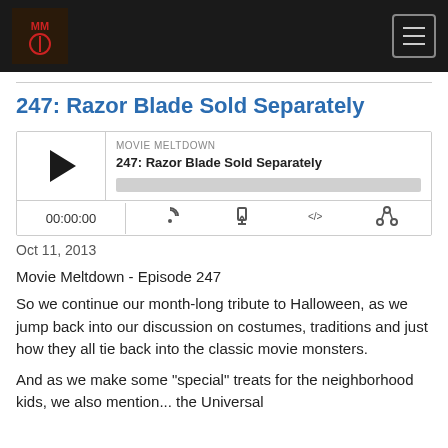Movie Meltdown podcast header with logo and hamburger menu
247: Razor Blade Sold Separately
[Figure (screenshot): Podcast audio player widget showing MOVIE MELTDOWN label, episode title '247: Razor Blade Sold Separately', play button, progress bar, time display 00:00:00, and control icons for RSS, download, embed, and share]
Oct 11, 2013
Movie Meltdown - Episode 247
So we continue our month-long tribute to Halloween, as we jump back into our discussion on costumes, traditions and just how they all tie back into the classic movie monsters.
And as we make some "special" treats for the neighborhood kids, we also mention... the Universal